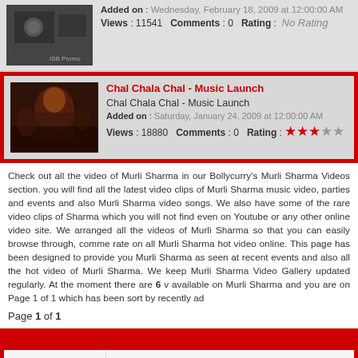[Figure (photo): Thumbnail image for ISB Promo 1 video]
Added on : Wednesday, February 18, 2009 at 12:00:00 AM
Views : 11541  Comments : 0  Rating : No Rating
[Figure (photo): Thumbnail image for Chal Chala Chal - Music Launch video showing a woman at an event]
Chal Chala Chal - Music Launch
Chal Chala Chal - Music Launch
Added on : Saturday, January 24, 2009 at 12:00:00 AM
Views : 18880  Comments : 0  Rating : 3 stars
Check out all the video of Murli Sharma in our Bollycurry's Murli Sharma Videos section. you will find all the latest video clips of Murli Sharma music video, parties and events and also Murli Sharma video songs. We also have some of the rare video clips of Sharma which you will not find even on Youtube or any other online video site. We arranged all the videos of Murli Sharma so that you can easily browse through, comment rate on all Murli Sharma hot video online. This page has been designed to provide you Murli Sharma as seen at recent events and also all the hot video of Murli Sharma. We keep Murli Sharma Video Gallery updated regularly. At the moment there are 6 v available on Murli Sharma and you are on Page 1 of 1 which has been sort by recently ad
Page 1 of 1
Partner Portals
[Figure (logo): India-Forums BETA logo - No. 1 Indian Entertainment Portal]